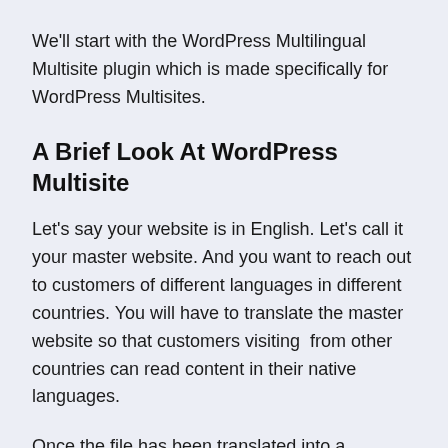We'll start with the WordPress Multilingual Multisite plugin which is made specifically for WordPress Multisites.
A Brief Look At WordPress Multisite
Let's say your website is in English. Let's call it your master website. And you want to reach out to customers of different languages in different countries. You will have to translate the master website so that customers visiting  from other countries can read content in their native languages.
Once the file has been translated into a particular language, it needs to be hosted on a website where speakers of that language can read it. So imagine one hundred languages, one hundred websites. WordPress multisite works perfectly here.
Why? You will have to create and manage a network of